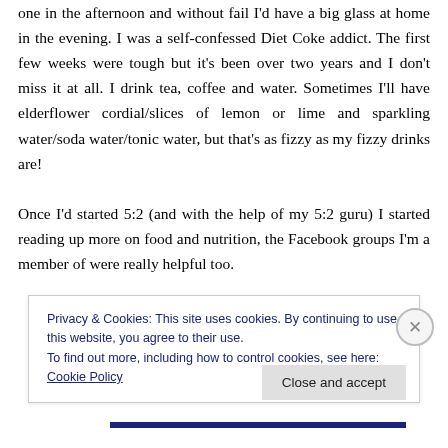one in the afternoon and without fail I'd have a big glass at home in the evening. I was a self-confessed Diet Coke addict. The first few weeks were tough but it's been over two years and I don't miss it at all. I drink tea, coffee and water. Sometimes I'll have elderflower cordial/slices of lemon or lime and sparkling water/soda water/tonic water, but that's as fizzy as my fizzy drinks are!

Once I'd started 5:2 (and with the help of my 5:2 guru) I started reading up more on food and nutrition, the Facebook groups I'm a member of were really helpful too.
Privacy & Cookies: This site uses cookies. By continuing to use this website, you agree to their use.
To find out more, including how to control cookies, see here: Cookie Policy
Close and accept